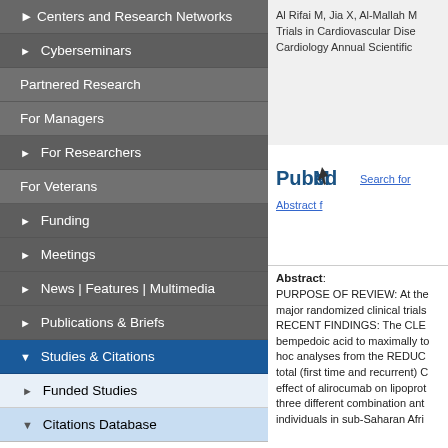Centers and Research Networks
▶ Cyberseminars
Partnered Research
For Managers
▶ For Researchers
For Veterans
▶ Funding
▶ Meetings
▶ News | Features | Multimedia
▶ Publications & Briefs
▾ Studies & Citations
▶ Funded Studies
▾ Citations Database
Search All Citations
Al Rifai M, Jia X, Al-Mallah M... Trials in Cardiovascular Dise... Cardiology Annual Scientific...
[Figure (logo): PubMed logo with stylized arrow]
Search for Abstract f...
Abstract: PURPOSE OF REVIEW: At the... major randomized clinical trials... RECENT FINDINGS: The CLE... bempedoic acid to maximally to... hoc analyses from the REDUC... total (first time and recurrent) C... effect of alirocumab on lipoprot... three different combination ant... individuals in sub-Saharan Afri...